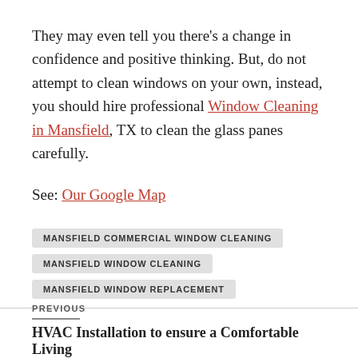They may even tell you there's a change in confidence and positive thinking. But, do not attempt to clean windows on your own, instead, you should hire professional Window Cleaning in Mansfield, TX to clean the glass panes carefully.
See: Our Google Map
MANSFIELD COMMERCIAL WINDOW CLEANING
MANSFIELD WINDOW CLEANING
MANSFIELD WINDOW REPLACEMENT
PREVIOUS
HVAC Installation to ensure a Comfortable Living